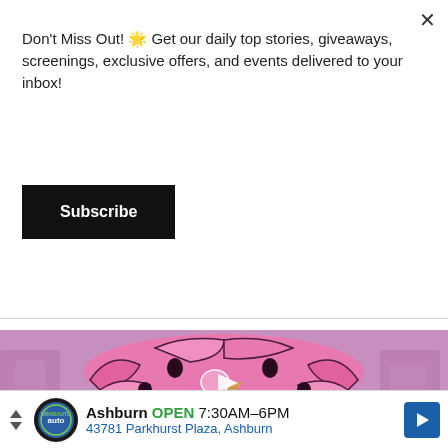Don't Miss Out! 🌟 Get our daily top stories, giveaways, screenings, exclusive offers, and events delivered to your inbox!
Subscribe
[Figure (illustration): Video thumbnail showing a stylized pink brain illustration with ice cream cone motif and play button overlay, on a pink blurred background with heartbeat line at bottom]
Ashburn OPEN 7:30AM–6PM 43781 Parkhurst Plaza, Ashburn